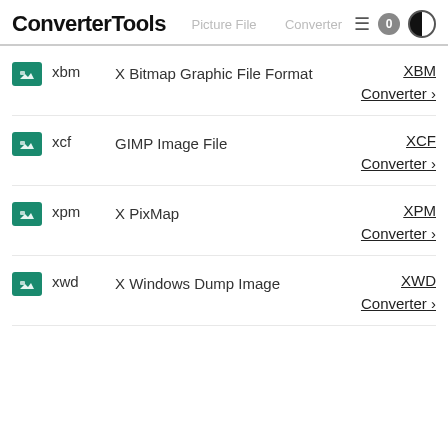ConverterTools | Picture File | Converter
xbm — X Bitmap Graphic File Format — XBM Converter
xcf — GIMP Image File — XCF Converter
xpm — X PixMap — XPM Converter
xwd — X Windows Dump Image — XWD Converter